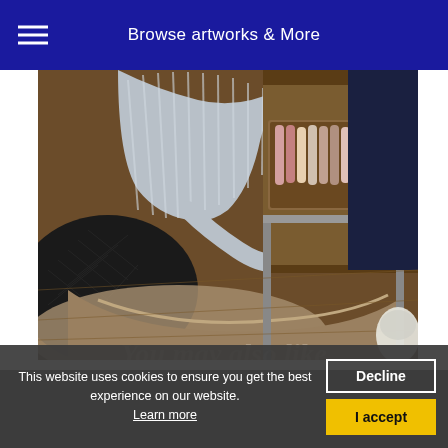Browse artworks & More
[Figure (photo): Artist studio workspace: a person in a striped shirt leans over a large curved object, with a wooden tray of colorful tools/chalk sticks visible on a metal table to the right, dark patterned fabric in foreground, warm brown wooden tones throughout.]
You may also like
This website uses cookies to ensure you get the best experience on our website. Learn more
Decline
I accept